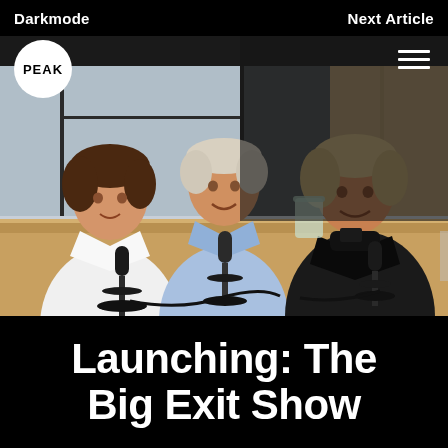Darkmode   Next Article
[Figure (photo): Three men sitting around a wooden table in a modern office/studio setting, each with a microphone in front of them, smiling at the camera. The man on the left wears a white shirt, the man in the center wears a light blue shirt, and the man on the right wears a black turtleneck. There is a glass jar with plants on the table and a phone.]
Launching: The Big Exit Show